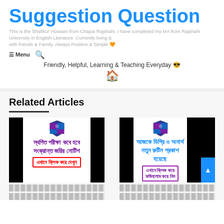Suggestion Question
This is the Shafikur Hossain from Chapai Rajshahi. I have completed my MA from Rajshahi University in English Literature. Currently living & with friends & Family. Always Positive & Simple 🧡
Friendly, Helpful, Learning & Teaching Everyday 😎
Related Articles
[Figure (screenshot): Article card 1: Bengali text about postponed exam notice with red button]
[Figure (screenshot): Article card 2: Bengali text about Degree & Honours new routine with purple button]